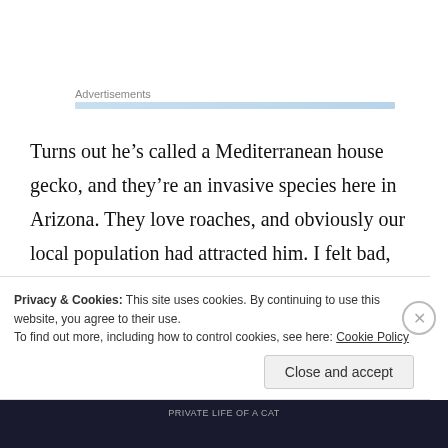Advertisements
Turns out he’s called a Mediterranean house gecko, and they’re an invasive species here in Arizona. They love roaches, and obviously our local population had attracted him. I felt bad, though, because I have boric acid everywhere, and eventually the poisoned roaches would have killed him. We released him in the bushes
Privacy & Cookies: This site uses cookies. By continuing to use this website, you agree to their use.
To find out more, including how to control cookies, see here: Cookie Policy
Close and accept